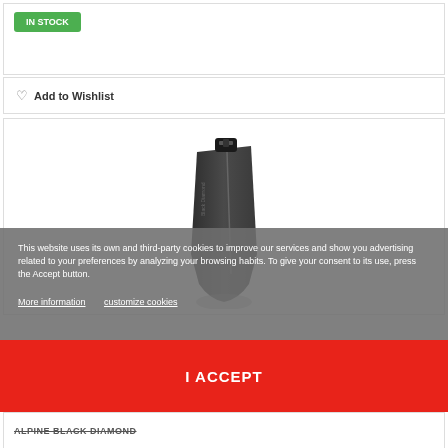In Stock
Add to Wishlist
[Figure (photo): Black leg gaiter product photo showing a tall neoprene/softshell gaiter with buckle closure at top, standing upright against white background]
This website uses its own and third-party cookies to improve our services and show you advertising related to your preferences by analyzing your browsing habits. To give your consent to its use, press the Accept button.
More information   customize cookies
I ACCEPT
ALPINE BLACK DIAMOND